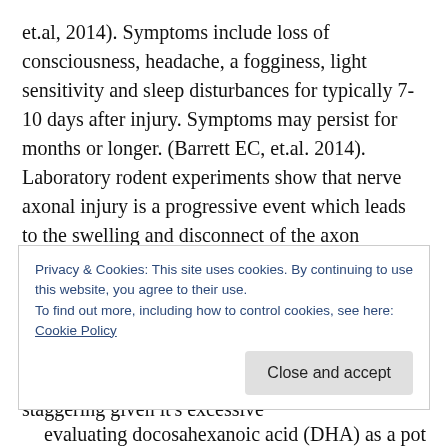et.al, 2014). Symptoms include loss of consciousness, headache, a fogginess, light sensitivity and sleep disturbances for typically 7-10 days after injury. Symptoms may persist for months or longer. (Barrett EC, et.al. 2014). Laboratory rodent experiments show that nerve axonal injury is a progressive event which leads to the swelling and disconnect of the axon membrane in hours to days following TBI. The injury causes a lack of transport and communication across axonal membranes, ultimately leading to cell death (Mills JD, et.al., 2011). The societal impact of concussion is staggering given it’s excessive
Privacy & Cookies: This site uses cookies. By continuing to use this website, you agree to their use.
To find out more, including how to control cookies, see here: Cookie Policy
Close and accept
evaluating docosahexanoic acid (DHA) as a potential